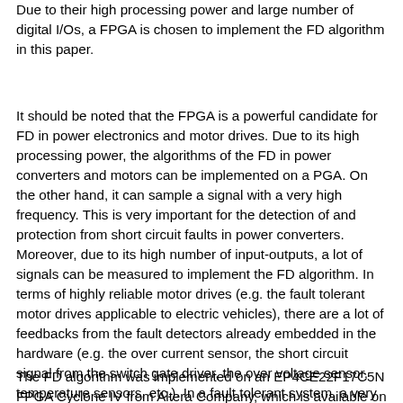Due to their high processing power and large number of digital I/Os, a FPGA is chosen to implement the FD algorithm in this paper.
It should be noted that the FPGA is a powerful candidate for FD in power electronics and motor drives. Due to its high processing power, the algorithms of the FD in power converters and motors can be implemented on a PGA. On the other hand, it can sample a signal with a very high frequency. This is very important for the detection of and protection from short circuit faults in power converters. Moreover, due to its high number of input-outputs, a lot of signals can be measured to implement the FD algorithm. In terms of highly reliable motor drives (e.g. the fault tolerant motor drives applicable to electric vehicles), there are a lot of feedbacks from the fault detectors already embedded in the hardware (e.g. the over current sensor, the short circuit signal from the switch gate driver, the over voltage sensor, temperature sensors, etc.). In a fault tolerant system, a very fast and powerful processor is necessary to manage and protect from these faults. A low cost FPGA is a high performance candidate to implement the FD algorithm. Therefore, there was a strong motivation to use a FPGA for implementing the FD algorithm in this paper.
The FD algorithm was implemented on an EP4CE22F17C5N FPGA Cyclone IV from Altera Company, which is available on a